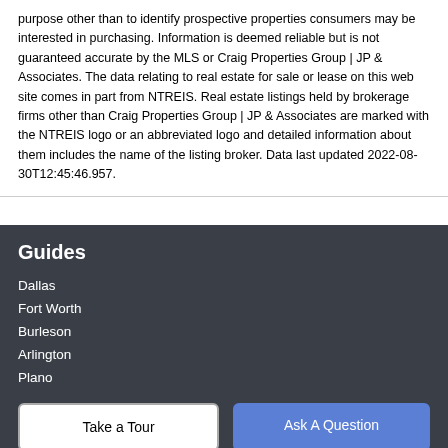purpose other than to identify prospective properties consumers may be interested in purchasing. Information is deemed reliable but is not guaranteed accurate by the MLS or Craig Properties Group | JP & Associates. The data relating to real estate for sale or lease on this web site comes in part from NTREIS. Real estate listings held by brokerage firms other than Craig Properties Group | JP & Associates are marked with the NTREIS logo or an abbreviated logo and detailed information about them includes the name of the listing broker. Data last updated 2022-08-30T12:45:46.957.
Guides
Dallas
Fort Worth
Burleson
Arlington
Plano
Take a Tour
Ask A Question
Company